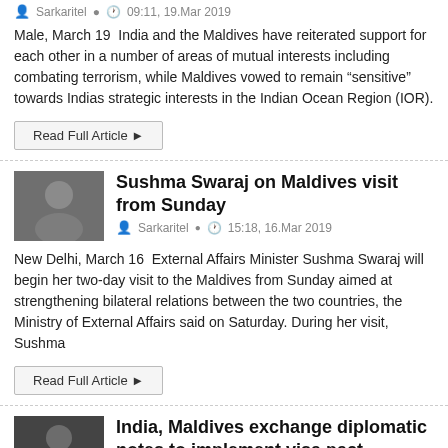Sarkaritel   09:11, 19.Mar 2019
Male, March 19  India and the Maldives have reiterated support for each other in a number of areas of mutual interests including combating terrorism, while Maldives vowed to remain “sensitive” towards Indias strategic interests in the Indian Ocean Region (IOR).
Read Full Article ►
[Figure (photo): Thumbnail photo of a person speaking, dark background]
Sushma Swaraj on Maldives visit from Sunday
Sarkaritel   15:18, 16.Mar 2019
New Delhi, March 16  External Affairs Minister Sushma Swaraj will begin her two-day visit to the Maldives from Sunday aimed at strengthening bilateral relations between the two countries, the Ministry of External Affairs said on Saturday. During her visit, Sushma
Read Full Article ►
[Figure (photo): Thumbnail photo of a man in suit, dark background]
India, Maldives exchange diplomatic notes to implement visa pact
Sarkaritel   10:40, 13.Feb 2019